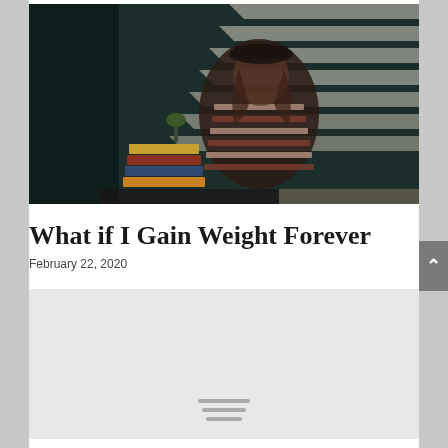[Figure (photo): A person sitting at a desk with striped shadow patterns from window blinds cast across the room, dark teal background, moody lighting]
What if I Gain Weight Forever
February 22, 2020
[Figure (photo): A second image placeholder with light gray background and three horizontal lines suggesting a loading or blurred image]